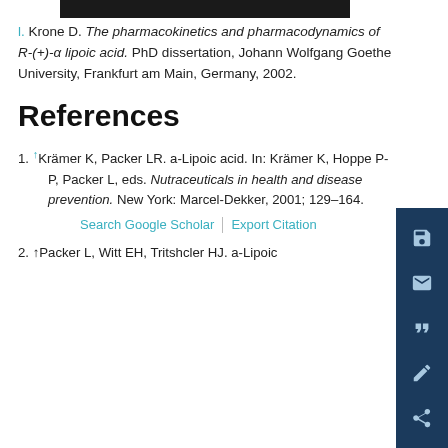l. Krone D. The pharmacokinetics and pharmacodynamics of R-(+)-α lipoic acid. PhD dissertation, Johann Wolfgang Goethe University, Frankfurt am Main, Germany, 2002.
References
1. ↑Krämer K, Packer LR. a-Lipoic acid. In: Krämer K, Hoppe P-P, Packer L, eds. Nutraceuticals in health and disease prevention. New York: Marcel-Dekker, 2001; 129–164.
Search Google Scholar | Export Citation
2. ↑Packer L, Witt EH, Tritshcler HJ. a-Lipoic